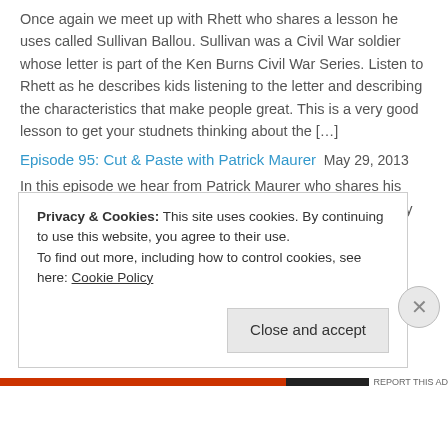Once again we meet up with Rhett who shares a lesson he uses called Sullivan Ballou. Sullivan was a Civil War soldier whose letter is part of the Ken Burns Civil War Series. Listen to Rhett as he describes kids listening to the letter and describing the characteristics that make people great. This is a very good lesson to get your studnets thinking about the […]
Episode 95: Cut & Paste with Patrick Maurer  May 29, 2013
In this episode we hear from Patrick Maurer who shares his thoughts on Zappos and how their approach to business may be good for your school. For more on Patrick check out www.pmaurer.com and for more on CADA check out www.cada1.org.
Episode 94: Harriet Turk, Who are you Serving?  April 28, 2013
In this episode we hear from speaker Harriet Turk who challenges us to
Privacy & Cookies: This site uses cookies. By continuing to use this website, you agree to their use.
To find out more, including how to control cookies, see here: Cookie Policy
Close and accept